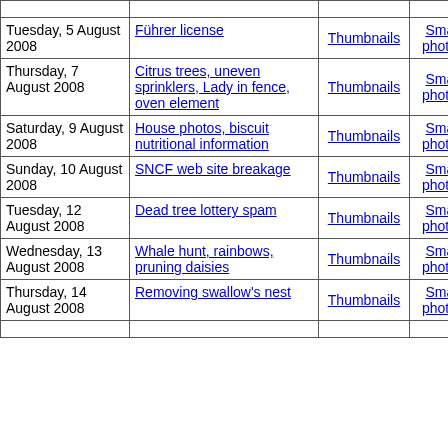| Date | Description | Thumbnails | Small photos | diary |
| --- | --- | --- | --- | --- |
| Tuesday, 5 August 2008 | Führer license | Thumbnails | Small photos | diary |
| Thursday, 7 August 2008 | Citrus trees, uneven sprinklers, Lady in fence, oven element | Thumbnails | Small photos | diary |
| Saturday, 9 August 2008 | House photos, biscuit nutritional information | Thumbnails | Small photos | diary |
| Sunday, 10 August 2008 | SNCF web site breakage | Thumbnails | Small photos | diary |
| Tuesday, 12 August 2008 | Dead tree lottery spam | Thumbnails | Small photos | diary |
| Wednesday, 13 August 2008 | Whale hunt, rainbows, pruning daisies | Thumbnails | Small photos | diary |
| Thursday, 14 August 2008 | Removing swallow's nest | Thumbnails | Small photos | diary |